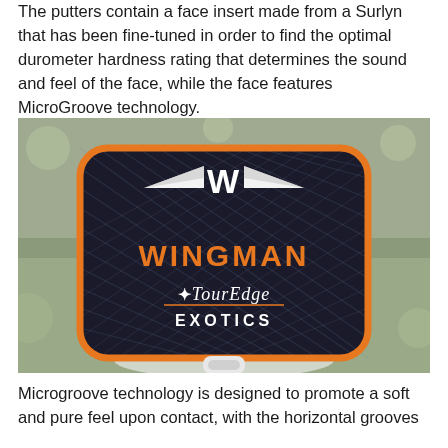The putters contain a face insert made from a Surlyn that has been fine-tuned in order to find the optimal durometer hardness rating that determines the sound and feel of the face, while the face features MicroGroove technology.
[Figure (photo): A black carbon-fiber textured golf putter headcover with orange trim, embroidered with a white wing logo, orange 'WINGMAN' text, and white 'Tour Edge EXOTICS' text, photographed outdoors.]
Microgroove technology is designed to promote a soft and pure feel upon contact, with the horizontal grooves